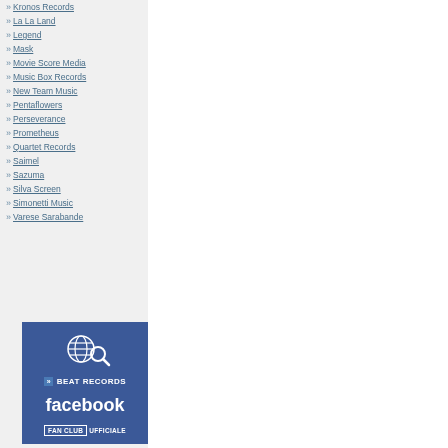Kronos Records
La La Land
Legend
Mask
Movie Score Media
Music Box Records
New Team Music
Pentaflowers
Perseverance
Prometheus
Quartet Records
Saimel
Sazuma
Silva Screen
Simonetti Music
Varese Sarabande
[Figure (logo): Beat Records Facebook Fan Club Ufficiale banner with globe icon and search magnifier on dark blue background]